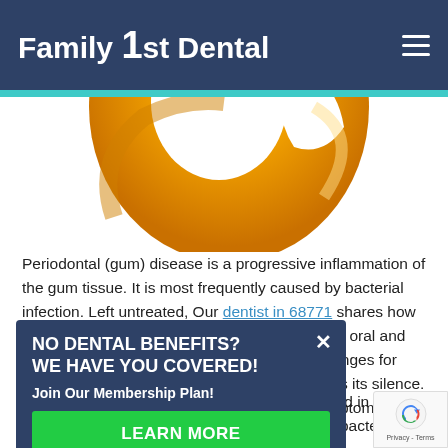Family 1st Dental
[Figure (illustration): Partial view of an orange donut-shaped 3D tooth or dental symbol illustration on white background, cropped at top]
Periodontal (gum) disease is a progressive inflammation of the gum tissue. It is most frequently caused by bacterial infection. Left untreated, Our dentist in 68771 shares how gum disease can be a serious problem for your oral and overall dental health. One of the biggest challenges for early detection and treatment of gum disease is its silence. Gum disease can progress with few or no symptoms until reaching an advanced stage.
NO DENTAL BENEFITS? WE HAVE YOU COVERED!
Join Our Membership Plan!
LEARN MORE
Gum disease is caused when the bacteria found in plaque builds up between the teeth and gums. As the bacteria grow,